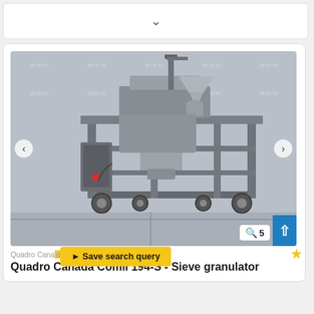[Figure (other): Collapsed/minimized card section showing a chevron/dropdown arrow]
[Figure (photo): Quadro Canada Comil 194-S Sieve Granulator industrial equipment on a wheeled metal frame stand, photographed against a white backdrop with #FOETH watermarks. Navigation arrows visible on left and right. Zoom badge showing magnifying glass icon and the number 5 in bottom right.]
Quadro Canada Comil 194-S - Sieve granulator
Save search query
Quadro Canada Comil 194-S - Sieve granulator